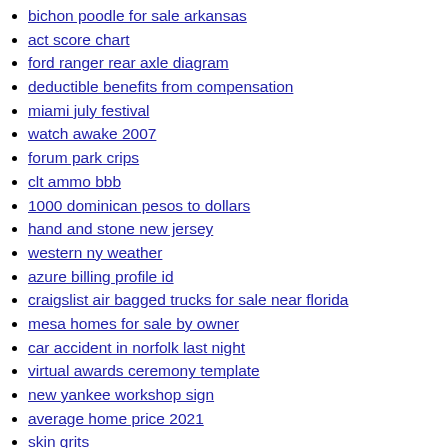bichon poodle for sale arkansas
act score chart
ford ranger rear axle diagram
deductible benefits from compensation
miami july festival
watch awake 2007
forum park crips
clt ammo bbb
1000 dominican pesos to dollars
hand and stone new jersey
western ny weather
azure billing profile id
craigslist air bagged trucks for sale near florida
mesa homes for sale by owner
car accident in norfolk last night
virtual awards ceremony template
new yankee workshop sign
average home price 2021
skin grits
replace pixel 5a 5g screen
16 dpo cramping and backache
will he get jealous if i post another guy
usenix template
belmont picks 6 17 21
2011 dodge journey shift lock release